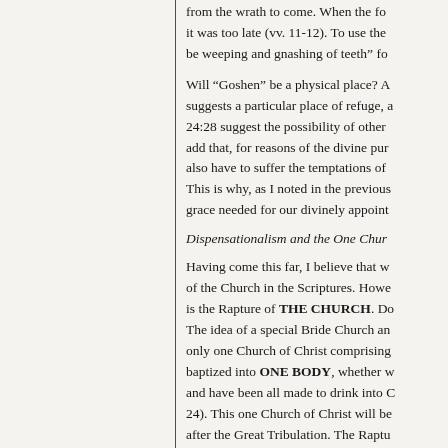from the wrath to come. When the fo it was too late (vv. 11-12). To use the be weeping and gnashing of teeth” fo
Will “Goshen” be a physical place? A suggests a particular place of refuge, a 24:28 suggest the possibility of other add that, for reasons of the divine pur also have to suffer the temptations of This is why, as I noted in the previous grace needed for our divinely appoint
Dispensationalism and the One Chur
Having come this far, I believe that w of the Church in the Scriptures. Howe is the Rapture of THE CHURCH. Do The idea of a special Bride Church an only one Church of Christ comprising baptized into ONE BODY, whether w and have been all made to drink into C 24). This one Church of Christ will be after the Great Tribulation. The Raptu “Behold, I shew you a mystery; We sh